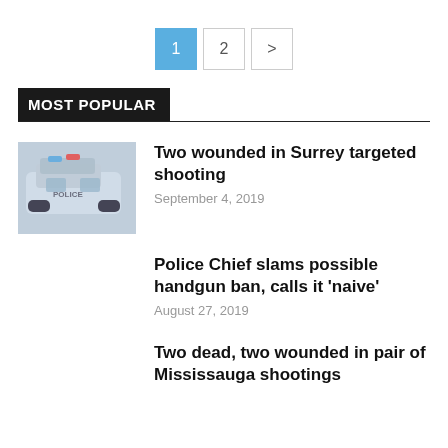1  2  >
MOST POPULAR
Two wounded in Surrey targeted shooting
September 4, 2019
Police Chief slams possible handgun ban, calls it 'naive'
August 27, 2019
Two dead, two wounded in pair of Mississauga shootings